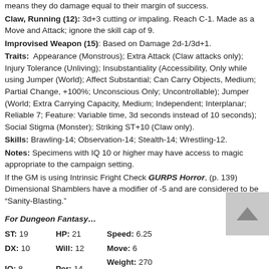means they do damage equal to their margin of success.
Claw, Running (12): 3d+3 cutting or impaling. Reach C-1. Made as a Move and Attack; ignore the skill cap of 9.
Improvised Weapon (15): Based on Damage 2d-1/3d+1.
Traits: Appearance (Monstrous); Extra Attack (Claw attacks only); Injury Tolerance (Unliving); Insubstantiality (Accessibility, Only while using Jumper (World); Affect Substantial; Can Carry Objects, Medium; Partial Change, +100%; Unconscious Only; Uncontrollable); Jumper (World; Extra Carrying Capacity, Medium; Independent; Interplanar; Reliable 7; Feature: Variable time, 3d seconds instead of 10 seconds); Social Stigma (Monster); Striking ST+10 (Claw only).
Skills: Brawling-14; Observation-14; Stealth-14; Wrestling-12.
Notes: Specimens with IQ 10 or higher may have access to magic appropriate to the campaign setting.
If the GM is using Intrinsic Fright Check GURPS Horror, (p. 139) Dimensional Shamblers have a modifier of -5 and are considered to be “Sanity-Blasting.”
For Dungeon Fantasy…
| Stat | Value | Stat | Value | Stat | Value |
| --- | --- | --- | --- | --- | --- |
| ST: | 19 | HP: | 21 | Speed: | 6.25 |
| DX: | 10 | Will: | 12 | Move: | 6 |
| IQ: | 8 | Per: | 14 | Weight: | 270 lbs |